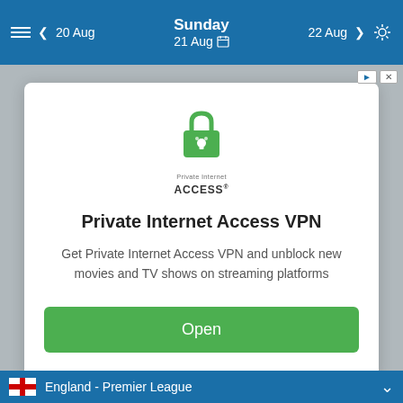Sunday 21 Aug — navigation bar with 20 Aug back, 22 Aug forward, settings
[Figure (screenshot): Private Internet Access VPN advertisement modal card with green lock logo, bold title 'Private Internet Access VPN', description text, and green Open button]
Private Internet Access VPN
Get Private Internet Access VPN and unblock new movies and TV shows on streaming platforms
England - Premier League